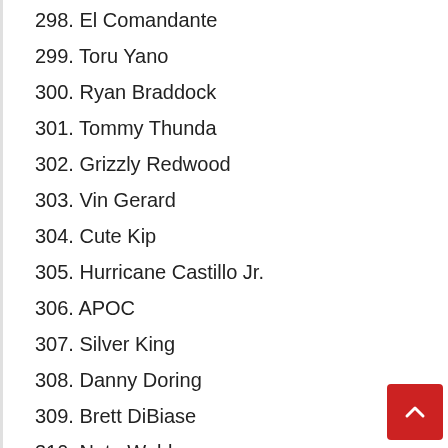298. El Comandante
299. Toru Yano
300. Ryan Braddock
301. Tommy Thunda
302. Grizzly Redwood
303. Vin Gerard
304. Cute Kip
305. Hurricane Castillo Jr.
306. APOC
307. Silver King
308. Danny Doring
309. Brett DiBiase
310. Nate Webb
311. Truitt Fields
312. Prince Mustafa Ali
313. Vaughn Lilas
314. Jigsaw